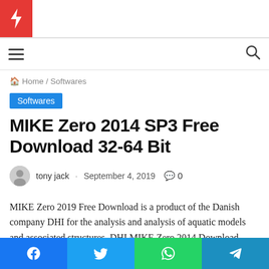logo / site header with lightning bolt icon
hamburger menu and search icon navigation bar
Home / Softwares
Softwares
MIKE Zero 2014 SP3 Free Download 32-64 Bit
tony jack · September 4, 2019  0
MIKE Zero 2019 Free Download is a product of the Danish company DHI for the analysis and analysis of aquatic models and associated structures. DHI MIKE Zero 2014 Download
Social share bar: Facebook, Twitter, WhatsApp, Telegram